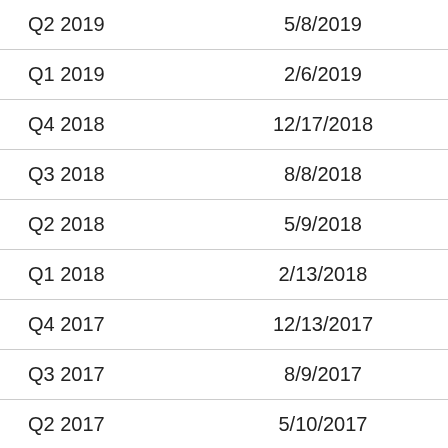| Q2 2019 | 5/8/2019 | 0.010 |
| Q1 2019 | 2/6/2019 | 0.01 |
| Q4 2018 | 12/17/2018 | -0.02 |
| Q3 2018 | 8/8/2018 | -0.06 |
| Q2 2018 | 5/9/2018 | -0.08 |
| Q1 2018 | 2/13/2018 | -0.05 |
| Q4 2017 | 12/13/2017 | -0.01 |
| Q3 2017 | 8/9/2017 | 0 |
| Q2 2017 | 5/10/2017 | 0.35 |